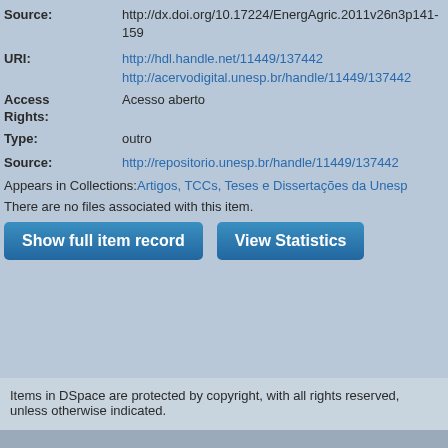Source: http://dx.doi.org/10.17224/EnergAgric.2011v26n3p141-159
URI: http://hdl.handle.net/11449/137442
http://acervodigital.unesp.br/handle/11449/137442
Access Rights: Acesso aberto
Type: outro
Source: http://repositorio.unesp.br/handle/11449/137442
Appears in Collections: Artigos, TCCs, Teses e Dissertações da Unesp
There are no files associated with this item.
Show full item record   View Statistics
Items in DSpace are protected by copyright, with all rights reserved, unless otherwise indicated.